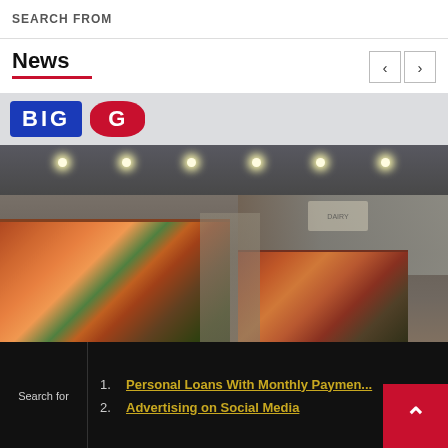SEARCH FROM
News
[Figure (photo): Interior of a supermarket showing produce section with colorful fruits and vegetables; store sign partially visible at top with blue and red lettering]
Search for
1. Personal Loans With Monthly Payments
2. Advertising on Social Media